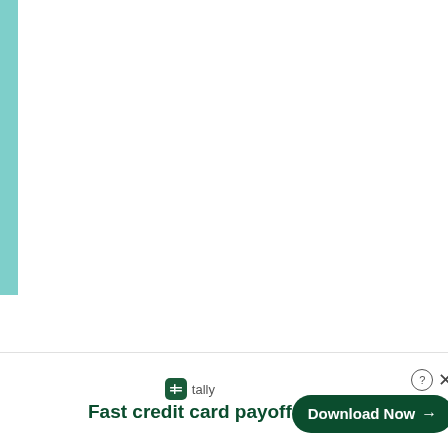[Figure (other): Teal/mint colored vertical bar on the left side of the page, partially visible]
[Figure (screenshot): Advertisement banner at the bottom of the page. Shows Tally app logo and name, headline 'Fast credit card payoff', and a dark green 'Download Now' button with arrow. Also shows help (?) and close (x) buttons.]
Discus
bin the
g to
t me